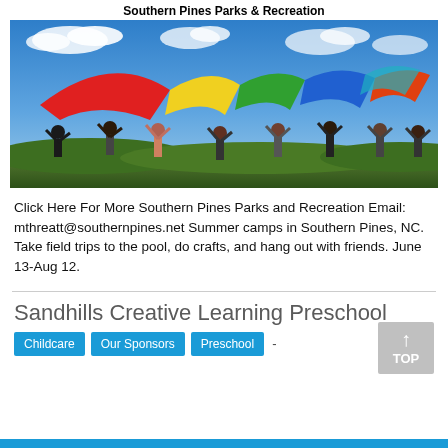Southern Pines Parks & Recreation
[Figure (photo): Children holding up a colorful parachute/canopy against a blue sky with clouds, outdoors at a summer camp.]
Click Here For More Southern Pines Parks and Recreation Email: mthreatt@southernpines.net Summer camps in Southern Pines, NC. Take field trips to the pool, do crafts, and hang out with friends. June 13-Aug 12.
Sandhills Creative Learning Preschool
Childcare  Our Sponsors  Preschool  -